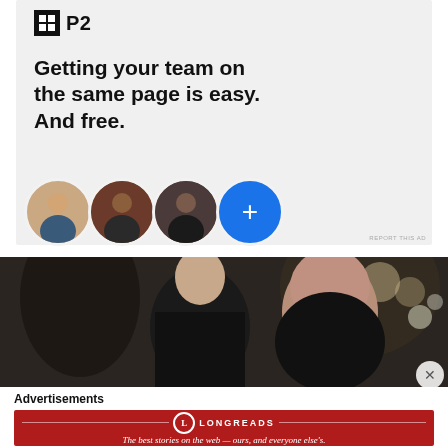[Figure (infographic): P2 advertisement banner on light gray background. Shows P2 logo (black square icon with grid lines and 'P2' text), headline 'Getting your team on the same page is easy. And free.', three circular avatar photos of people and a blue circle with a plus sign. 'REPORT THIS AD' text in bottom right corner.]
[Figure (photo): Article photo showing people at a formal event/gathering, visible are the back of a person in a suit and a bald man facing forward.]
Advertisements
[Figure (infographic): Longreads advertisement on dark red background. Shows Longreads logo (circle with L) and text 'LONGREADS' with horizontal lines. Below: 'The best stories on the web — ours, and everyone else's.' in white italic text.]